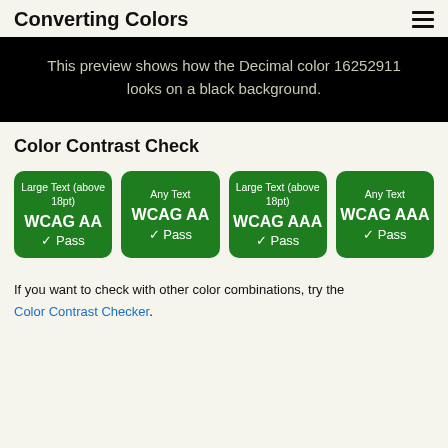Converting Colors
This preview shows how the Decimal color 16252911 looks on a black background.
Color Contrast Check
[Figure (infographic): Four green rounded cards showing WCAG color contrast results: 1) Large Text (above 18pt) WCAG AA ✓ Pass, 2) Any Text WCAG AA ✓ Pass, 3) Large Text (above 18pt) WCAG AAA ✓ Pass, 4) Any Text WCAG AAA ✓ Pass]
If you want to check with other color combinations, try the Color Contrast Checker.